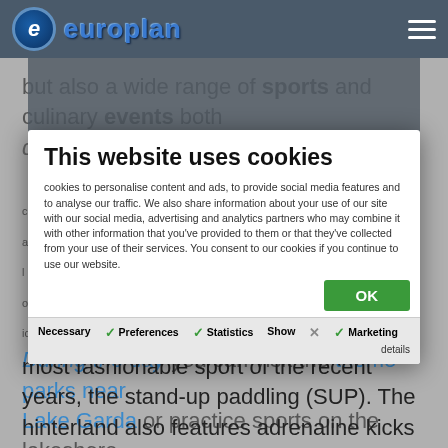europlan
but also a wide range of sports and culinary events both during the day and in the evening.
cookies to personalise content and ads, to provide social media features alyse our traffic. We also share information about your use of our site with l media, advertising and analytics partners who may combine it with other on that you've provided to them or that they've collected from your use of ices. You consent to our cookies if you continue to use our website.
This website uses cookies
cookies to personalise content and ads, to provide social media features and to analyse our traffic. We also share information about your use of our site with our social media, advertising and analytics partners who may combine it with other information that you've provided to them or that they've collected from your use of their services. You consent to our cookies if you continue to use our website.
During the day you can visit the theme parks near Lake Garda or practice sports on the lakeshore and in the hinterland. Lake Garda is the perfect destination for water sports such as kitesurfing, surfing, windsurfing, sailing and the
most fashionable sport of the recent years, the stand-up paddling (SUP). The hinterland also features adrenaline kicks for adventurous people who can enjoy a day rafting or canyoning in the torrents, paragliding from the Monte Baldo peaks